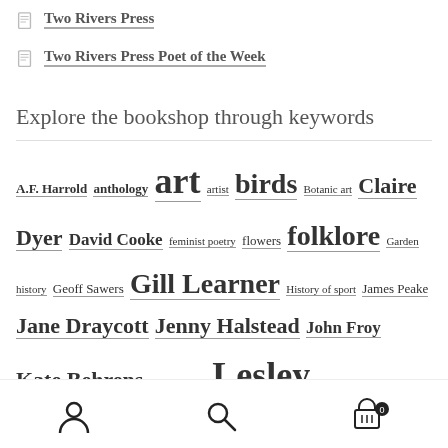Two Rivers Press
Two Rivers Press Poet of the Week
Explore the bookshop through keywords
A.F. Harrold anthology art artist birds Botanic art Claire Dyer David Cooke feminist poetry flowers folklore Garden history Geoff Sawers Gill Learner History of sport James Peake Jane Draycott Jenny Halstead John Froy Kate Behrens Kate Noakes Lesley Saunders local interest loss nature Oscar Wilde painting Peter Hay Peter Robinson poetry in translation printmaking Reading … RHS River Thames Sally Castle
User icon | Search icon | Cart (0)